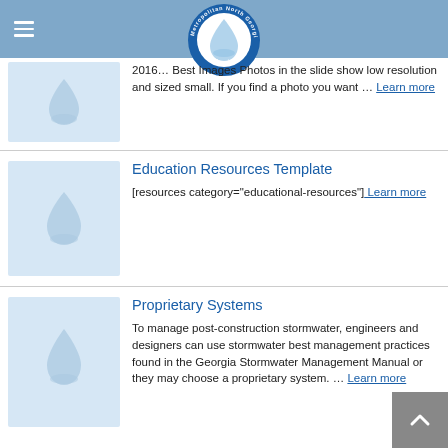Metropolitan North Georgia Water Planning District
[Figure (logo): Metropolitan North Georgia Water Planning District circular logo with water drop]
2016 … Best Images Photos in the slide show low resolution and sized small. If you find a photo you want … Learn more
Education Resources Template
[resources category="educational-resources"] Learn more
Proprietary Systems
To manage post-construction stormwater, engineers and designers can use stormwater best management practices found in the Georgia Stormwater Management Manual or they may choose a proprietary system. … Learn more